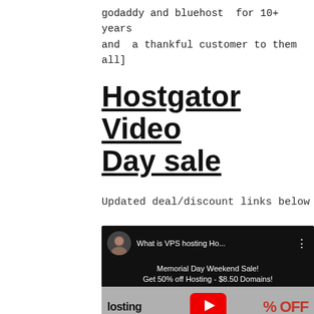godaddy and bluehost  for 10+ years
and  a thankful customer to them all]
Hostgator Video Day sale
Updated deal/discount links below
[Figure (screenshot): YouTube video thumbnail showing 'What is VPS hosting Ho...' with a woman avatar, subtitle 'Memorial Day Weekend Sale! Get 50% off Hosting - $8.50 Domains!' and a YouTube play button on a banner reading 'hosting 50% OFF']